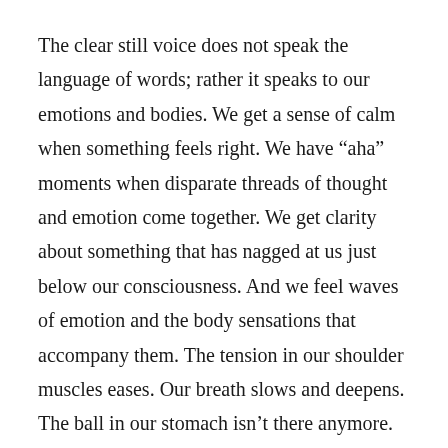The clear still voice does not speak the language of words; rather it speaks to our emotions and bodies. We get a sense of calm when something feels right. We have “aha” moments when disparate threads of thought and emotion come together. We get clarity about something that has nagged at us just below our consciousness. And we feel waves of emotion and the body sensations that accompany them. The tension in our shoulder muscles eases. Our breath slows and deepens. The ball in our stomach isn’t there anymore.
In our modern Western culture, most of us are not attuned to these subtle shifts in our emotions and bodies. More conditions which is part of the time. On we have